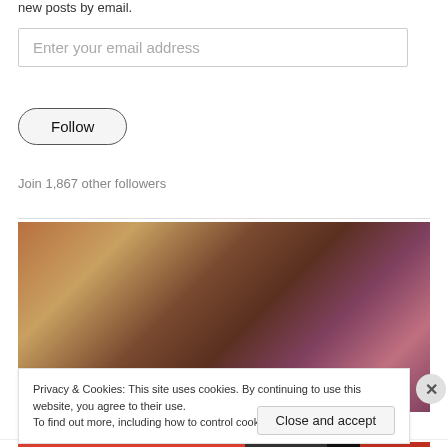new posts by email.
Enter your email address
Follow
Join 1,867 other followers
[Figure (photo): Close-up photo of animal fur with warm brown, orange, and reddish-pink tones]
Privacy & Cookies: This site uses cookies. By continuing to use this website, you agree to their use.
To find out more, including how to control cookies, see here: Cookie Policy
Close and accept